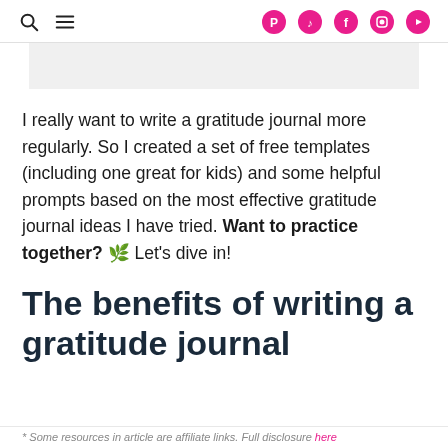Search | Menu | Pinterest | TikTok | Facebook | Instagram | YouTube
[Figure (other): Gray banner/image placeholder bar]
I really want to write a gratitude journal more regularly. So I created a set of free templates (including one great for kids) and some helpful prompts based on the most effective gratitude journal ideas I have tried. Want to practice together? 🌿 Let's dive in!
The benefits of writing a gratitude journal
* Some resources in article are affiliate links. Full disclosure here